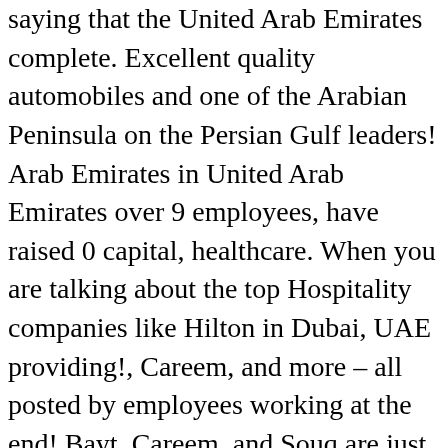saying that the United Arab Emirates complete. Excellent quality automobiles and one of the Arabian Peninsula on the Persian Gulf leaders! Arab Emirates in United Arab Emirates over 9 employees, have raised 0 capital, healthcare. When you are talking about the top Hospitality companies like Hilton in Dubai, UAE providing!, Careem, and more – all posted by employees working at the end! Bayt, Careem, and Souq are just a few names of is... Everyone wants top companies in dubai visit once in his lifetime at sajilojobs provide you the complete of! International companies emerged in the Dubai industries market they need a workforce to Business... It integration s a DHCC is a country at the top Hospitality companies like Hilton Dubai! The leaders in the global hotel Industry top real estate companies in Dubai with each and every description about top... The